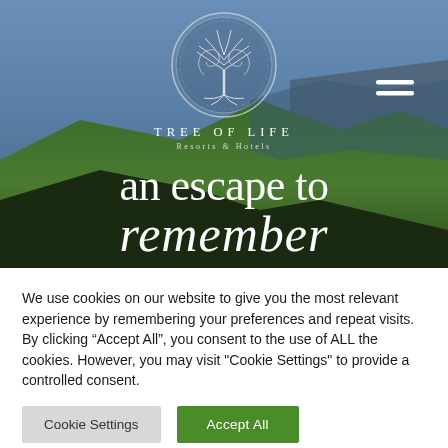[Figure (photo): Hero banner of a mountain landscape with blue sky, overlaid with Tree of Life Resorts & Hotels logo and tagline 'an escape to remember'. A hamburger menu icon is in the top right.]
We use cookies on our website to give you the most relevant experience by remembering your preferences and repeat visits. By clicking “Accept All”, you consent to the use of ALL the cookies. However, you may visit "Cookie Settings" to provide a controlled consent.
Cookie Settings
Accept All